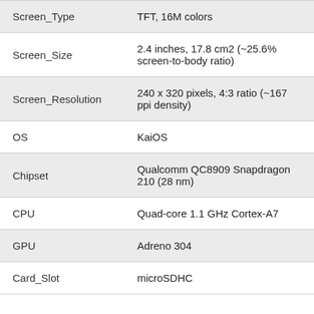| Attribute | Value |
| --- | --- |
| Screen_Type | TFT, 16M colors |
| Screen_Size | 2.4 inches, 17.8 cm2 (~25.6% screen-to-body ratio) |
| Screen_Resolution | 240 x 320 pixels, 4:3 ratio (~167 ppi density) |
| OS | KaiOS |
| Chipset | Qualcomm QC8909 Snapdragon 210 (28 nm) |
| CPU | Quad-core 1.1 GHz Cortex-A7 |
| GPU | Adreno 304 |
| Card_Slot | microSDHC |